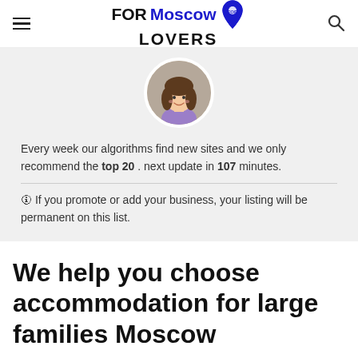FORMoscow LOVERS
[Figure (illustration): Cartoon avatar of a woman with brown hair wearing a purple top, shown in a circular frame]
Every week our algorithms find new sites and we only recommend the top 20 . next update in 107 minutes.
🛈 If you promote or add your business, your listing will be permanent on this list.
We help you choose accommodation for large families Moscow